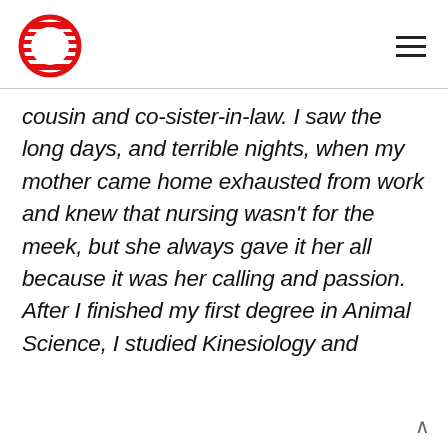[Figure (logo): Circular red and white logo with horizontal red stripes, resembling a globe or abstract O shape]
cousin and co-sister-in-law. I saw the long days, and terrible nights, when my mother came home exhausted from work and knew that nursing wasn't for the meek, but she always gave it her all because it was her calling and passion. After I finished my first degree in Animal Science, I studied Kinesiology and